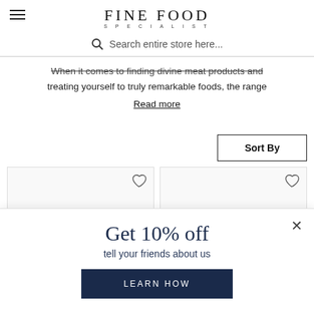FINE FOOD SPECIALIST
Search entire store here...
When it comes to finding divine meat products and treating yourself to truly remarkable foods, the range
Read more
Sort By
[Figure (other): Two product cards with heart/wishlist icons]
Get 10% off
tell your friends about us
LEARN HOW